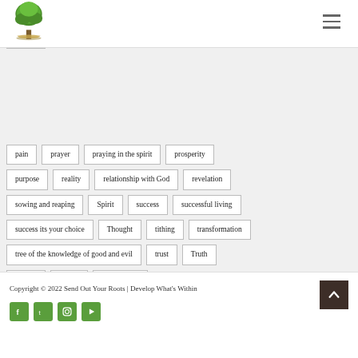[Figure (logo): Green tree logo for Send Out Your Roots]
pain
prayer
praying in the spirit
prosperity
purpose
reality
relationship with God
revelation
sowing and reaping
Spirit
success
successful living
success its your choice
Thought
tithing
transformation
tree of the knowledge of good and evil
trust
Truth
victory
wealth
what is faith
Copyright © 2022 Send Out Your Roots | Develop What's Within